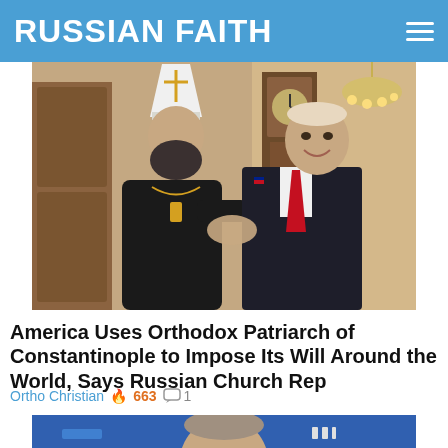RUSSIAN FAITH
[Figure (photo): An Orthodox bishop in white mitre and black vestments shaking hands and smiling with a man in a dark suit and red tie, in an ornate room with chandelier and grandfather clock]
America Uses Orthodox Patriarch of Constantinople to Impose Its Will Around the World, Says Russian Church Rep
Ortho Christian 🔥 663 💬 1
[Figure (photo): Partial view of a man's head and shoulders against a blue background with partial text visible]